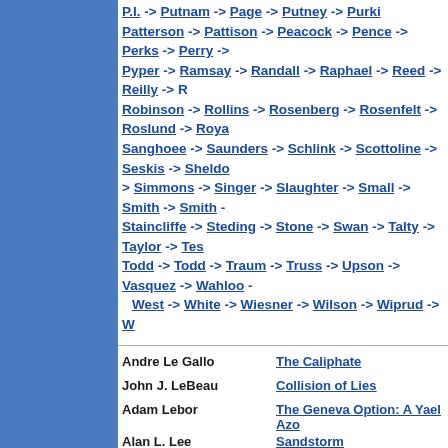P.I. -> Putnam -> Page -> Putney -> Pyper -> Patterson -> Pattison -> Peacock -> Pence -> Perks -> Perry -> Pyper -> Ramsay -> Randall -> Raphael -> Reed -> Reilly -> Robinson -> Rollins -> Rosenberg -> Rosenfelt -> Roslund -> Roya -> Sanghoee -> Saunders -> Schlink -> Scottoline -> Seskis -> Sheldon -> Simmons -> Singer -> Slaughter -> Small -> Smith -> Smith -> Staincliffe -> Steding -> Stone -> Swan -> Talty -> Taylor -> Tes -> Todd -> Todd -> Traum -> Truss -> Upson -> Vasquez -> Wahloo -> West -> White -> Wiesner -> Wilson -> Wiprud -> W
Andre Le Gallo | The Caliphate
John J. LeBeau | Collision of Lies
Adam Lebor | The Geneva Option: A Yael Azo
Alan L. Lee | Sandstorm
Amanda Lee | Thread End: An Embroidery M
Elizabeth Lee | A Tough Nut to Kill
Rachel Lee | Last Breath
Rachel Lee | With Malice
Con Lehane | Death At the Old Hotel: A Barte
Con Lehane | Murder at the 42nd Street Libr
Con Lehane | Murder in the Manuscript Room Mystery
Con Lehane | Murder Off the Page: A 42nd S
Con Lehane | What Goes Around Comes Arou Bartender Brian McNulty